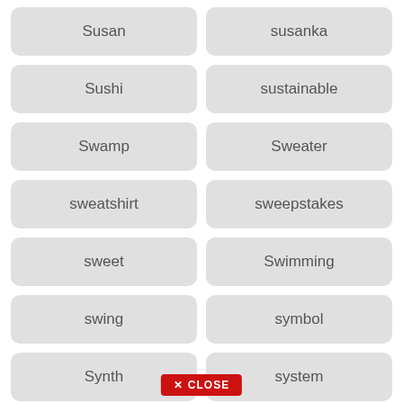Susan
susanka
Sushi
sustainable
Swamp
Sweater
sweatshirt
sweepstakes
sweet
Swimming
swing
symbol
Synth
system
systems
table
tables
tail
tailes
take
✕ CLOSE